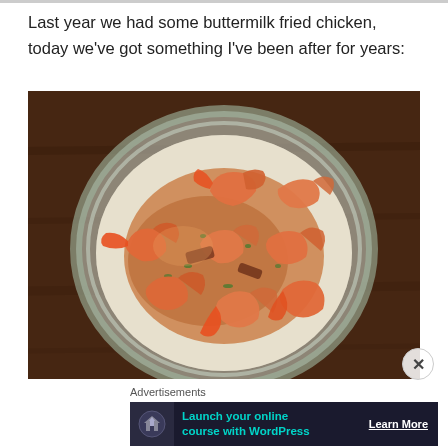Last year we had some buttermilk fried chicken, today we've got something I've been after for years:
[Figure (photo): A glass plate with scalloped edges holding shrimp and grits — large cooked shrimp with a golden-orange sauce, herbs, and bacon pieces over a bed of creamy white grits, on a dark wooden table background.]
Advertisements
[Figure (other): Advertisement banner with dark navy background showing a house/upload icon on the left, teal text reading 'Launch your online course with WordPress', and a 'Learn More' button on the right.]